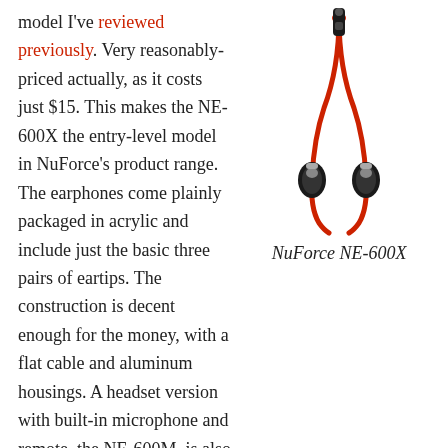model I've reviewed previously. Very reasonably-priced actually, as it costs just $15. This makes the NE-600X the entry-level model in NuForce's product range. The earphones come plainly packaged in acrylic and include just the basic three pairs of eartips. The construction is decent enough for the money, with a flat cable and aluminum housings. A headset version with built-in microphone and remote, the NE-600M, is also available.
[Figure (photo): Photo of NuForce NE-600X in-ear earphones with black metal housings and red cable]
NuForce NE-600X
To say that the sound of the NE-600X is bass-heavy is a bit of an understatement – on tracks with heavy bass presence, these earphones are downright thunderous. They make sets like the Sony MH1C and T-Peos Tank – IEMs that are by no means